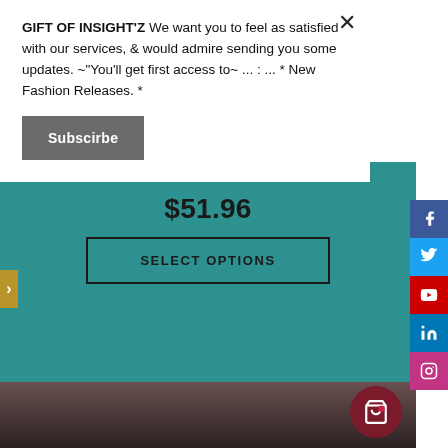GIFT OF INSIGHT'Z We want you to feel as satisfied with our services, & would admire sending you some updates. ~"You'll get first access to~ ... : ... * New Fashion Releases. *
Subscirbe
$51.96
SELECT OPTIONS
[Figure (screenshot): Social media sidebar with Facebook, Twitter, YouTube, LinkedIn, and Instagram icons on the right side]
[Figure (photo): Woman with blonde hair wearing a red patterned jacket/cardigan, photographed from chest up]